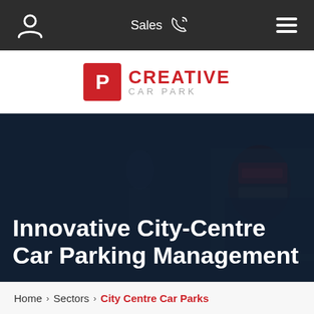Navigation bar with person icon, Sales phone icon, and hamburger menu
[Figure (logo): Creative Car Park logo with red P box and text]
Innovative City-Centre Car Parking Management
Home > Sectors > City Centre Car Parks